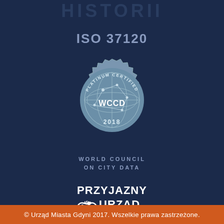HISTORII
ISO 37120
[Figure (logo): WCCD Platinum Certified 2018 badge - circular seal with globe and gear-like border, World Council on City Data]
WORLD COUNCIL ON CITY DATA
[Figure (logo): Przyjazny Urząd logo - white text with handshake icon]
© Urząd Miasta Gdyni 2017. Wszelkie prawa zastrzeżone.